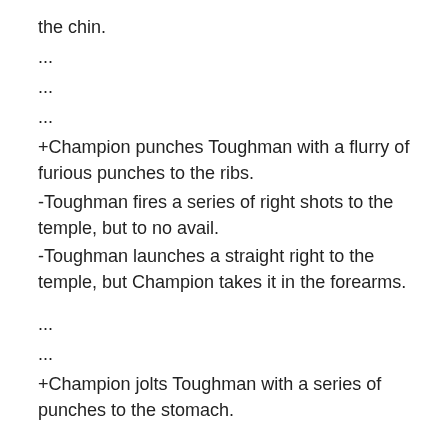the chin.
...
...
...
+Champion punches Toughman with a flurry of furious punches to the ribs.
-Toughman fires a series of right shots to the temple, but to no avail.
-Toughman launches a straight right to the temple, but Champion takes it in the forearms.
...
...
+Champion jolts Toughman with a series of punches to the stomach.
...
...
+Champion lands a barrage of stiff punches to the stomach. Toughman sneers "My grandmother can hit harder than that!"